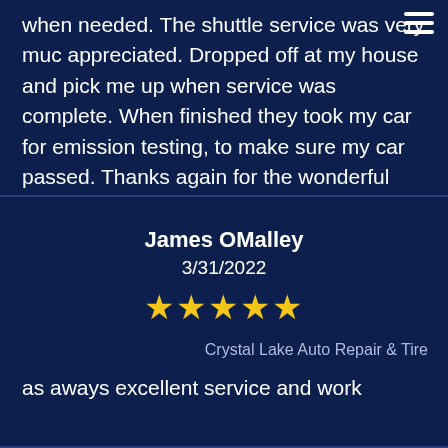when needed. The shuttle service was very much appreciated. Dropped off at my house and picked me up when service was complete. When finished they took my car for emission testing, to make sure my car passed. Thanks again for the wonderful service.
James OMalley
3/31/2022
[Figure (other): Five gold star rating]
Crystal Lake Auto Repair & Tire
as aways excellent service and work